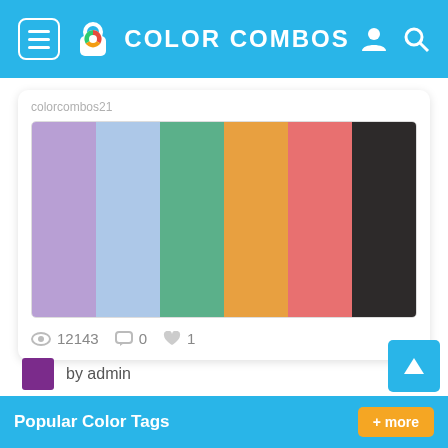COLOR COMBOS
colorcombos21
[Figure (infographic): Color palette with 6 swatches: lavender purple, light blue, teal green, orange, coral red, dark charcoal]
12143  0  1
by admin
Popular Color Tags
+ more